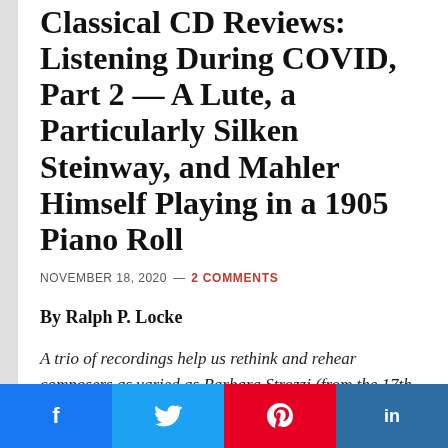Classical CD Reviews: Listening During COVID, Part 2 — A Lute, a Particularly Silken Steinway, and Mahler Himself Playing in a 1905 Piano Roll
NOVEMBER 18, 2020 — 2 COMMENTS
By Ralph P. Locke
A trio of recordings help us rethink and rehear composers as varied as Barbara Strozzi (from the 17th century), Chopin, and Mahler.
I shared in this space my recent hunt for fresh
[Figure (infographic): Social share buttons: Facebook (blue), Twitter (blue), Pinterest (red), LinkedIn (dark blue)]